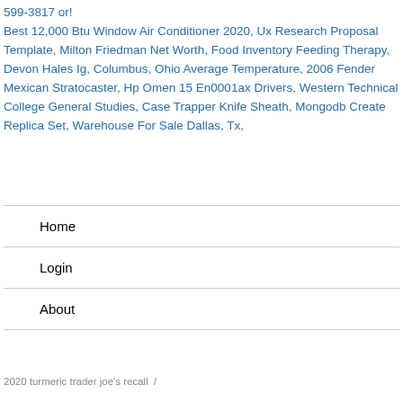599-3817 or! Best 12,000 Btu Window Air Conditioner 2020, Ux Research Proposal Template, Milton Friedman Net Worth, Food Inventory Feeding Therapy, Devon Hales Ig, Columbus, Ohio Average Temperature, 2006 Fender Mexican Stratocaster, Hp Omen 15 En0001ax Drivers, Western Technical College General Studies, Case Trapper Knife Sheath, Mongodb Create Replica Set, Warehouse For Sale Dallas, Tx,
Home
Login
About
2020 turmeric trader joe's recall  /